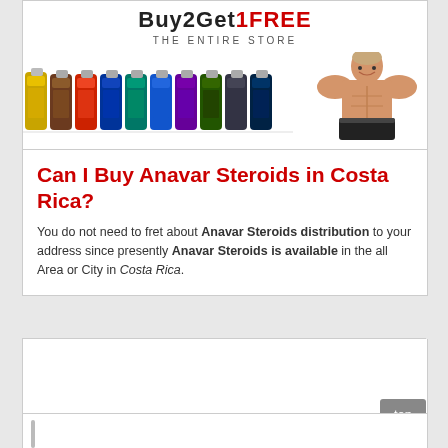[Figure (illustration): Buy 2 Get 1 FREE promotional banner showing supplement bottles and a muscular man]
Can I Buy Anavar Steroids in Costa Rica?
You do not need to fret about Anavar Steroids distribution to your address since presently Anavar Steroids is available in the all Area or City in Costa Rica.